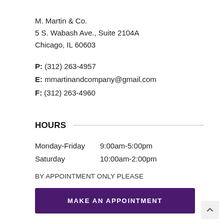M. Martin & Co.
5 S. Wabash Ave., Suite 2104A
Chicago, IL 60603
P: (312) 263-4957
E: mmartinandcompany@gmail.com
F: (312) 263-4960
HOURS
Monday-Friday  9:00am-5:00pm
Saturday         10:00am-2:00pm
BY APPOINTMENT ONLY PLEASE
MAKE AN APPOINTMENT